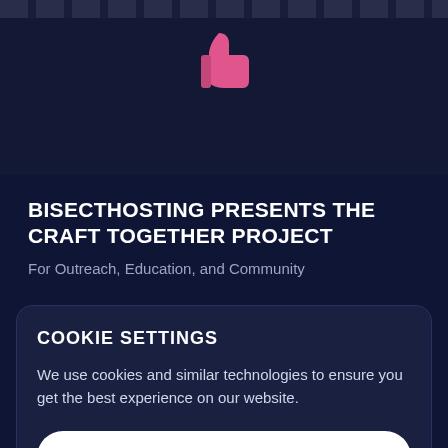[Figure (illustration): Dark navy top banner with diagonal stripe pattern and a pink/white thumbs-up icon centered below the stripe]
BISECTHOSTING PRESENTS THE CRAFT TOGETHER PROJECT
For Outreach, Education, and Community
COOKIE SETTINGS
We use cookies and similar technologies to ensure you get the best experience on our website.
Learn More
Got it!